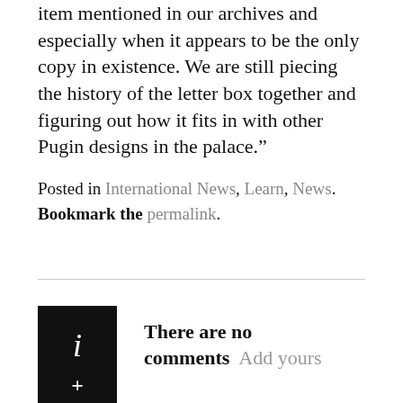item mentioned in our archives and especially when it appears to be the only copy in existence. We are still piecing the history of the letter box together and figuring out how it fits in with other Pugin designs in the palace.”
Posted in International News, Learn, News. Bookmark the permalink.
There are no comments  Add yours